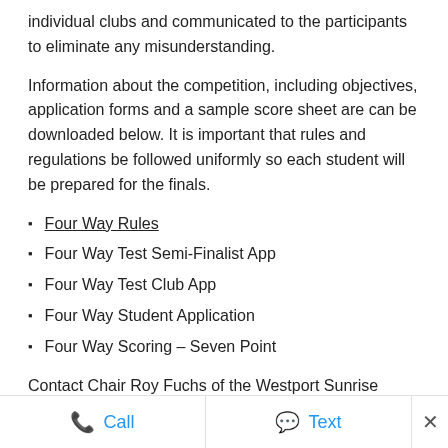individual clubs and communicated to the participants to eliminate any misunderstanding.
Information about the competition, including objectives, application forms and a sample score sheet are can be downloaded below. It is important that rules and regulations be followed uniformly so each student will be prepared for the finals.
Four Way Rules
Four Way Test Semi-Finalist App
Four Way Test Club App
Four Way Student Application
Four Way Scoring – Seven Point
Contact Chair Roy Fuchs of the Westport Sunrise Rotary Club with any questions. Roy may be reached at 203-856-4321, by FAX at
Call   Text   ×